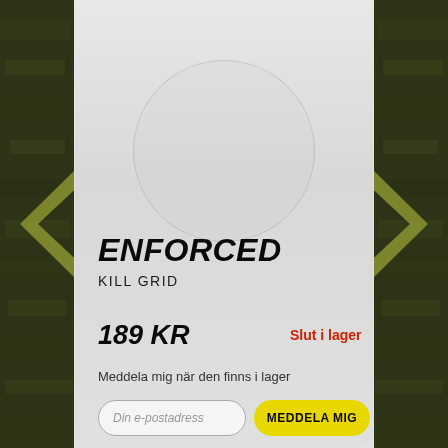[Figure (photo): Dark olive/grass textured background with yellow-green chevron arrows on left and right sides, product card overlay in center]
ENFORCED
KILL GRID
189 KR
Slut i lager
Meddela mig när den finns i lager
Din e-postadress
MEDDELA MIG